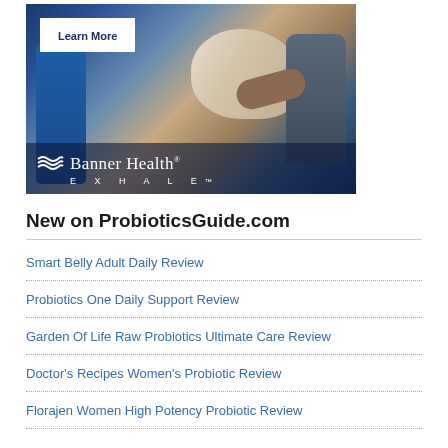[Figure (photo): Banner Health Exhale advertisement showing a man with a white dog being examined, with a 'Learn More' button and Banner Health Exhale branding overlay]
New on ProbioticsGuide.com
Smart Belly Adult Daily Review
Probiotics One Daily Support Review
Garden Of Life Raw Probiotics Ultimate Care Review
Doctor's Recipes Women's Probiotic Review
Florajen Women High Potency Probiotic Review